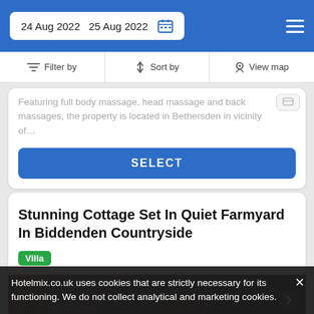24 Aug 2022   25 Aug 2022
Filter by   Sort by   View map
Featuring full body massage, head massage and back massages, the property is located in Bethersden in vicinity of...
SELECT
Stunning Cottage Set In Quiet Farmyard In Biddenden Countryside
Villa
[Figure (photo): Interior photo of the cottage, dark tones]
Hotelmix.co.uk uses cookies that are strictly necessary for its functioning. We do not collect analytical and marketing cookies.